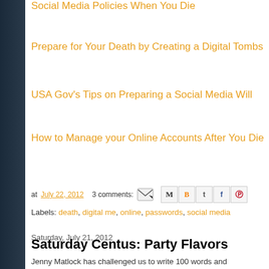Social Media Policies When You Die
Prepare for Your Death by Creating a Digital Tombs
USA Gov's Tips on Preparing a Social Media Will
How to Manage your Online Accounts After You Die
at July 22, 2012   3 comments:
Labels: death, digital me, online, passwords, social media
Saturday, July 21, 2012
Saturday Centus: Party Flavors
Jenny Matlock has challenged us to write 100 words and incorporate, "" response. I loved writing this - it evoked a wonderful trip down memory memories have lots of 'flavor'!